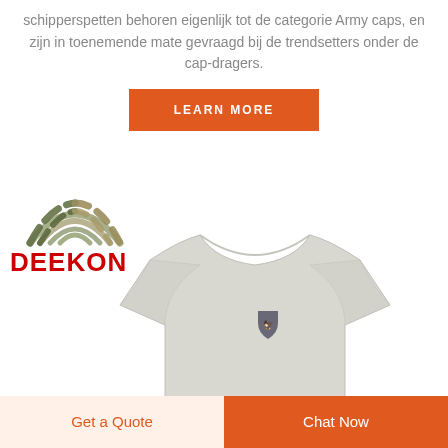schipperspetten behoren eigenlijk tot de categorie Army caps, en zijn in toenemende mate gevraagd bij de trendsetters onder de cap-dragers.
LEARN MORE
[Figure (logo): DEEKON logo with camouflage/green arc icon above red bold text DEEKON]
[Figure (photo): White t-shirt with small shield/crest logo on chest, no head visible, displayed on white background]
Get a Quote
Chat Now